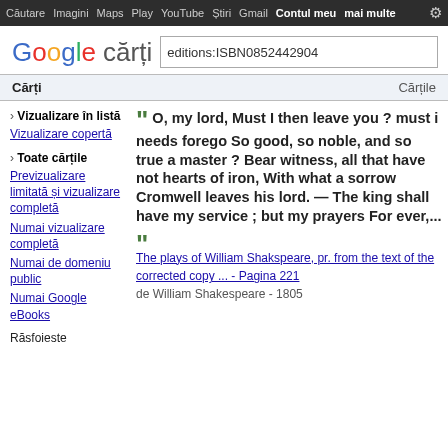Căutare  Imagini  Maps  Play  YouTube  Știri  Gmail  Contul meu  mai multe
[Figure (logo): Google cărți logo with colorful letters]
editions:ISBN0852442904
Cărți   Cărțile
› Vizualizare în listă
Vizualizare copertă
› Toate cărțile
Previzualizare limitată și vizualizare completă
Numai vizualizare completă
Numai de domeniu public
Numai Google eBooks
" O, my lord, Must I then leave you ? must i needs forego So good, so noble, and so true a master ? Bear witness, all that have not hearts of iron, With what a sorrow Cromwell leaves his lord. — The king shall have my service ; but my prayers For ever,... "
The plays of William Shakspeare, pr. from the text of the corrected copy ... - Pagina 221
de William Shakespeare - 1805
Răsfoieste